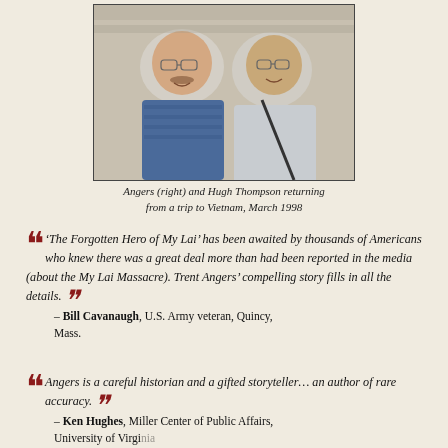[Figure (photo): Two men posing together smiling, one in a striped polo shirt on the left and one in a light shirt with a bag strap on the right. Black and white/color photo.]
Angers (right) and Hugh Thompson returning from a trip to Vietnam, March 1998
‘The Forgotten Hero of My Lai’ has been awaited by thousands of Americans who knew there was a great deal more than had been reported in the media (about the My Lai Massacre). Trent Angers’ compelling story fills in all the details. – Bill Cavanaugh, U.S. Army veteran, Quincy, Mass.
Angers is a careful historian and a gifted storyteller… an author of rare accuracy. – Ken Hughes, Miller Center of Public Affairs, University of Virginia